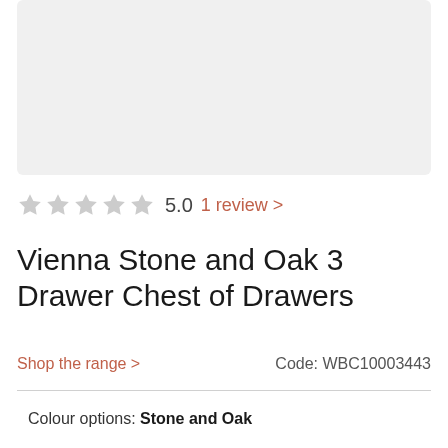[Figure (photo): Product image placeholder area with light grey background]
5.0  1 review >
Vienna Stone and Oak 3 Drawer Chest of Drawers
Shop the range >
Code: WBC10003443
Colour options: Stone and Oak